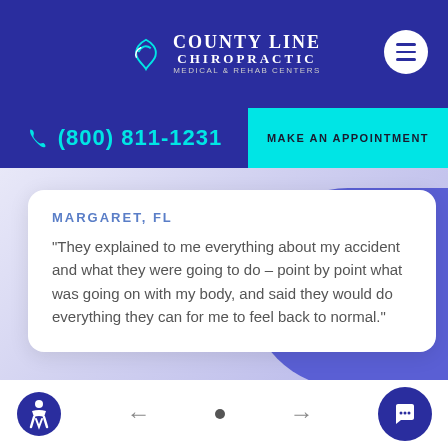County Line Chiropractic Medical & Rehab Centers
(800) 811-1231
MAKE AN APPOINTMENT
MARGARET, FL
“They explained to me everything about my accident and what they were going to do – point by point what was going on with my body, and said they would do everything they can for me to feel back to normal.”